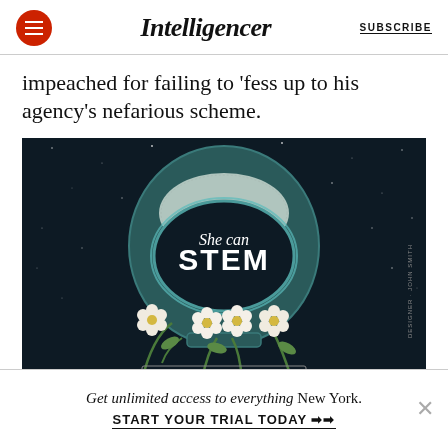Intelligencer | SUBSCRIBE
impeached for failing to 'fess up to his agency's nefarious scheme.
[Figure (illustration): Astronaut helmet with 'She can STEM' text, decorated with white flowers, on a dark starry background.]
Get unlimited access to everything New York. START YOUR TRIAL TODAY →→